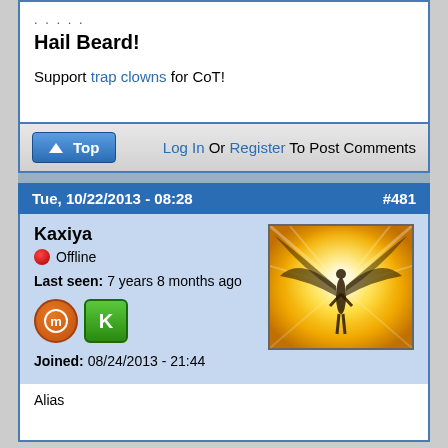. . . . .
Hail Beard!
Support trap clowns for CoT!
Top   Log In Or Register To Post Comments
Tue, 10/22/2013 - 08:28   #481
Kaxiya
Offline
Last seen: 7 years 8 months ago
Joined: 08/24/2013 - 21:44
[Figure (photo): Avatar image showing a golden winged figure silhouette with bright yellow light rays]
Alias